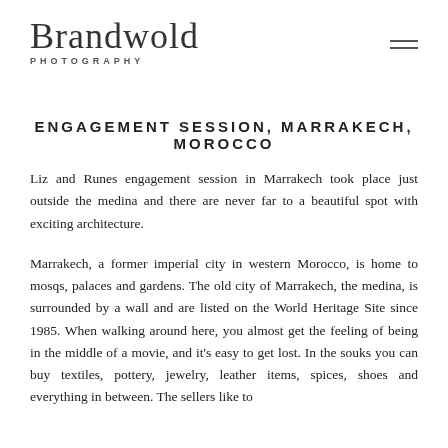Brandwold PHOTOGRAPHY
ENGAGEMENT SESSION, MARRAKECH, MOROCCO
Liz and Runes engagement session in Marrakech took place just outside the medina and there are never far to a beautiful spot with exciting architecture.
Marrakech, a former imperial city in western Morocco, is home to mosqs, palaces and gardens. The old city of Marrakech, the medina, is surrounded by a wall and are listed on the World Heritage Site since 1985. When walking around here, you almost get the feeling of being in the middle of a movie, and it's easy to get lost. In the souks you can buy textiles, pottery, jewelry, leather items, spices, shoes and everything in between. The sellers like to